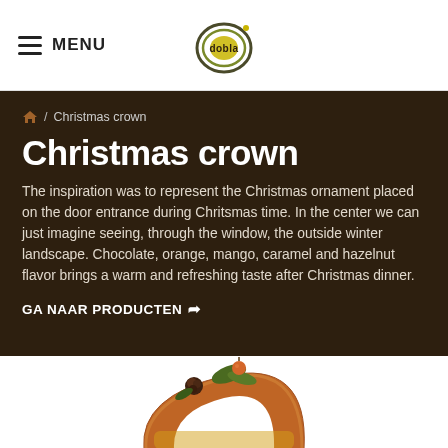MENU | dobla logo
🏠 / Christmas crown
Christmas crown
The inspiration was to represent the Christmas ornament placed on the door entrance during Chritsmas time. In the center we can just imagine seeing, through the window, the outside winter landscape. Chocolate, orange, mango, caramel and hazelnut flavor brings a warm and refreshing taste after Christmas dinner.
GA NAAR PRODUCTEN ☞
[Figure (photo): Photo of a Christmas crown dessert — a ring-shaped caramel/chocolate cake decorated with green leaves, a small round fruit, and a chocolate rose flower on top, on a white background.]